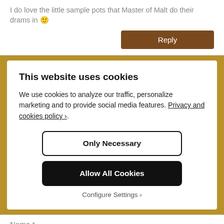I do love the little sample pots that Master of Malt do their drams in 🙂
Reply
This website uses cookies
We use cookies to analyze our traffic, personalize marketing and to provide social media features. Privacy and cookies policy ›.
Only Necessary
Allow All Cookies
Configure Settings ›
Name *